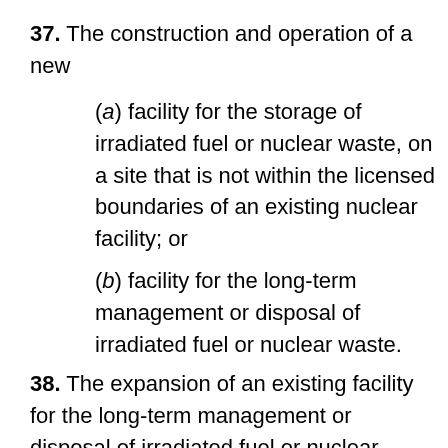37. The construction and operation of a new
(a) facility for the storage of irradiated fuel or nuclear waste, on a site that is not within the licensed boundaries of an existing nuclear facility; or
(b) facility for the long-term management or disposal of irradiated fuel or nuclear waste.
38. The expansion of an existing facility for the long-term management or disposal of irradiated fuel or nuclear waste that